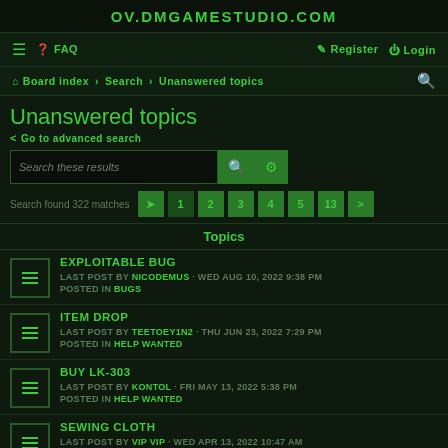OV.DMGAMESTUDIO.COM
FAQ  Register  Login  Board index  Search  Unanswered topics
Unanswered topics
Go to advanced search
Search these results
Search found 322 matches  1  2  3  4  5  13
Topics
Exploitable bug
Last post by Nicodemus · Wed Aug 10, 2022 9:38 pm
Posted in Bugs
Item Drop
Last post by TeeTOey1n2 · Thu Jun 23, 2022 7:29 pm
Posted in Help wanted
BUY LK-303
Last post by KONTOL · Fri May 13, 2022 5:38 pm
Posted in Help wanted
SEWING CLOTH
Last post by VIP VIP · Wed Apr 13, 2022 10:47 am
Posted in Help wanted